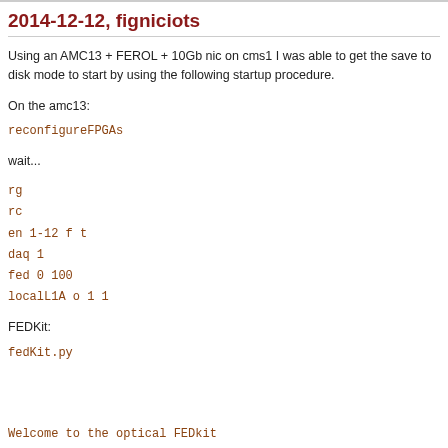...2014-12-12, figniciots
Using an AMC13 + FEROL + 10Gb nic on cms1 I was able to get the save to disk mode to start by using the following startup procedure.
On the amc13:
reconfigureFPGAs
wait...
rg
rc
en 1-12 f t
daq 1
fed 0 100
localL1A o 1 1
FEDKit:
fedKit.py
Welcome to the optical FEDkit